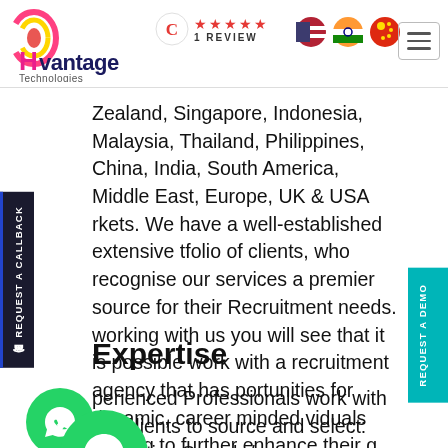[Figure (logo): Hvantage Technologies logo with colorful swirl and brand name]
[Figure (other): Clutch review badge: C logo with 4 red stars and '1 REVIEW' text]
[Figure (other): Flag icons: USA, India, Hong Kong]
Zealand, Singapore, Indonesia, Malaysia, Thailand, Philippines, China, India, South America, Middle East, Europe, UK & USA rkets. We have a well-established extensive tfolio of clients, who recognise our services a premier source for their Recruitment needs. working with us you will see that it is possible work with a recruitment agency that has portunities for dynamic, career minded viduals looking to further enhance their g expertise.
Expertise
perienced Professionals work with our clients to source and select: Executive Search /